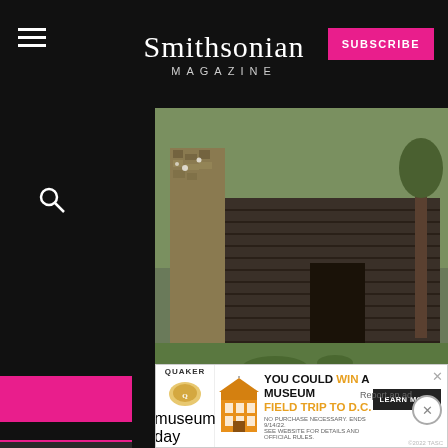Smithsonian MAGAZINE
[Figure (photo): Old log cabin with stone chimney surrounded by green grass and trees]
(Corbis)
e demand for grain to supply Europe, ith bad weather, droves of settlers st across the Appalachian Mountains.
[Figure (other): Quaker advertisement: YOU COULD WIN A MUSEUM FIELD TRIP TO D.C. - LEARN MORE. No purchase necessary. Ends 9/14/22. See website for details and official rules.]
complicated by the fact that there was